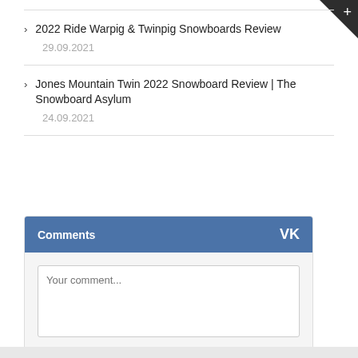2022 Ride Warpig & Twinpig Snowboards Review
29.09.2021
Jones Mountain Twin 2022 Snowboard Review | The Snowboard Asylum
24.09.2021
[Figure (screenshot): VK Comments widget with a text input area labeled 'Your comment...' and a Send button]